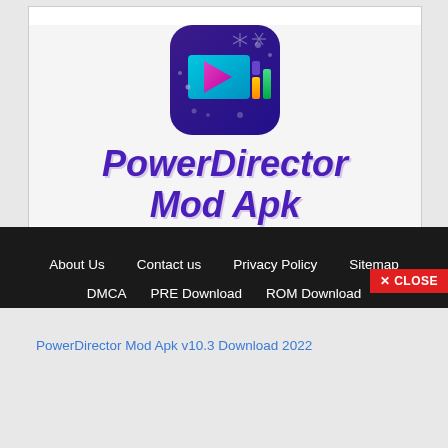[Figure (logo): PowerDirector app icon (purple rounded square with video editing interface graphic) above large bold italic purple text reading 'PowerDirector Mod Apk' on white background]
PowerDirector Mod Apk v10.3 Download 2022
About Us   Contact us   Privacy Policy   Sitemap